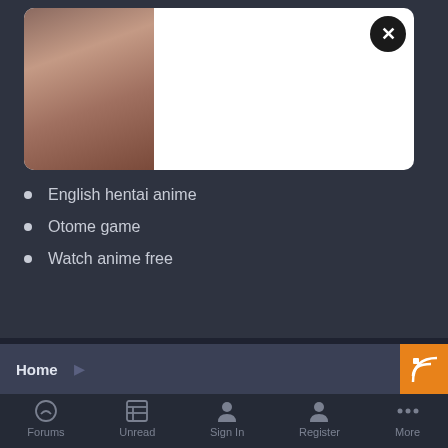[Figure (photo): Advertisement banner card with photo of a woman on the left side and a close (X) button on the top right, white background card]
English hentai anime
Otome game
Watch anime free
Home  (navigation bar with RSS icon)
ErogeGames © 2010 - 2021   Contact Us
Forums   Unread   Sign In   Register   More